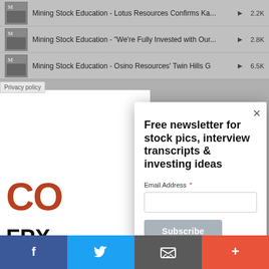Mining Stock Education - Lotus Resources Confirms Ka... ▶ 2.2K
Mining Stock Education - "We're Fully Invested with Our... ▶ 2.8K
Mining Stock Education - Osino Resources' Twin Hills G ▶ 6.5K
Privacy policy
[Figure (screenshot): Partial view of webpage background with logo text 'CO' in brown/copper and ticker 'FPX' and 'TSX-V:F' in black]
[Figure (screenshot): Newsletter signup modal dialog with title 'Free newsletter for stock pics, interview transcripts & investing ideas', Email Address field with asterisk, and Subscribe button]
Free newsletter for stock pics, interview transcripts & investing ideas
Email Address *
Subscribe
f  Twitter bird icon  Email icon  +